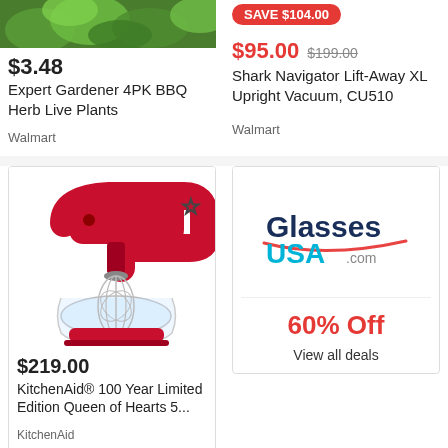[Figure (photo): Green herb plant photo (top left, partially cropped)]
$3.48
Expert Gardener 4PK BBQ Herb Live Plants
Walmart
SAVE $104.00
$95.00  $199.00
Shark Navigator Lift-Away XL Upright Vacuum, CU510
Walmart
[Figure (photo): Red KitchenAid stand mixer with glass bowl and wire whisk attachment]
$219.00
KitchenAid® 100 Year Limited Edition Queen of Hearts 5...
KitchenAid
[Figure (logo): GlassesUSA.com logo — Glasses in dark blue, USA in cyan, .com in small gray, with a red curved underline]
60% Off
View all deals